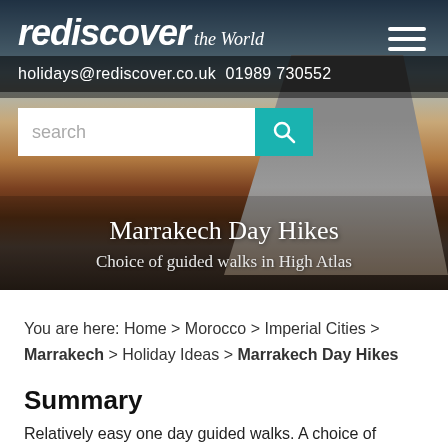rediscover the World
holidays@rediscover.co.uk 01989 730552
[Figure (screenshot): Search bar with teal search button and magnifying glass icon]
Marrakech Day Hikes
Choice of guided walks in High Atlas
You are here: Home > Morocco > Imperial Cities > Marrakech > Holiday Ideas > Marrakech Day Hikes
Summary
Relatively easy one day guided walks. A choice of